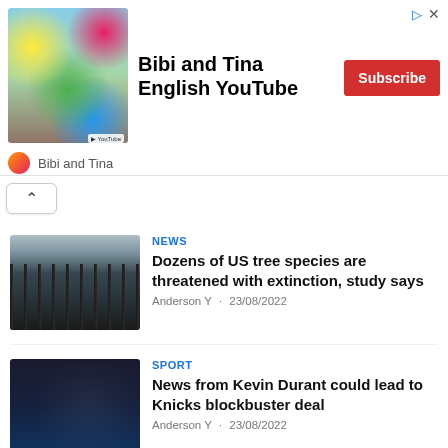[Figure (screenshot): Advertisement banner for Bibi and Tina English YouTube channel with thumbnail image, bold title text, Subscribe button, and channel icon]
Bibi and Tina English YouTube
Bibi and Tina
[Figure (screenshot): Collapse/chevron up button]
NEWS
Dozens of US tree species are threatened with extinction, study says
Anderson Y  ·  23/08/2022
SPORT
News from Kevin Durant could lead to Knicks blockbuster deal
Anderson Y  ·  23/08/2022
CULTURE AND ART
Real housewife kid asks fans to leave